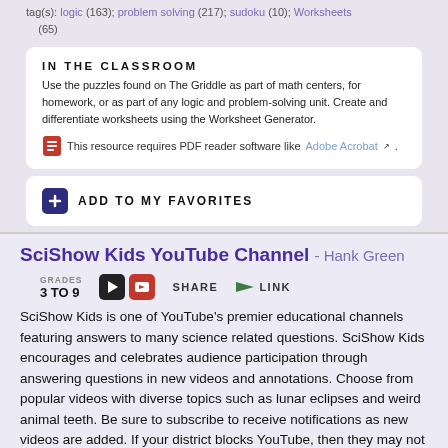tag(s): logic (163); problem solving (217); sudoku (10); Worksheets (65)
IN THE CLASSROOM
Use the puzzles found on The Griddle as part of math centers, for homework, or as part of any logic and problem-solving unit. Create and differentiate worksheets using the Worksheet Generator.
This resource requires PDF reader software like Adobe Acrobat.
ADD TO MY FAVORITES
SciShow Kids YouTube Channel - Hank Green
GRADES 3 TO 9
SHARE
LINK
SciShow Kids is one of YouTube's premier educational channels featuring answers to many science related questions. SciShow Kids encourages and celebrates audience participation through answering questions in new videos and annotations. Choose from popular videos with diverse topics such as lunar eclipses and weird animal teeth. Be sure to subscribe to receive notifications as new videos are added. If your district blocks YouTube, then they may not be viewable. This site includes advertising.